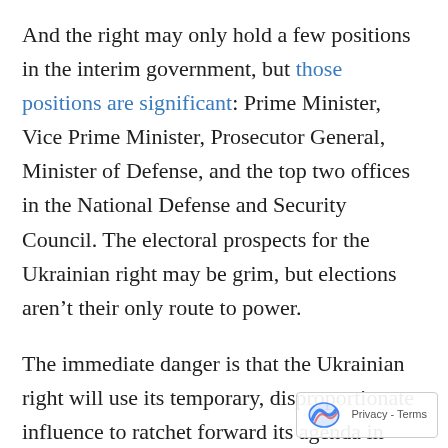And the right may only hold a few positions in the interim government, but those positions are significant: Prime Minister, Vice Prime Minister, Prosecutor General, Minister of Defense, and the top two offices in the National Defense and Security Council. The electoral prospects for the Ukrainian right may be grim, but elections aren't their only route to power.
The immediate danger is that the Ukrainian right will use its temporary, disproportionate influence to ratchet forward its agenda in ways that will be difficult to reverse. It has already pushed a raft of illiberal legislation in Ukraine's Parliament, and is actively purging dissent from the military and e[llipsed] the media. Moreover, participation in Ukraine's